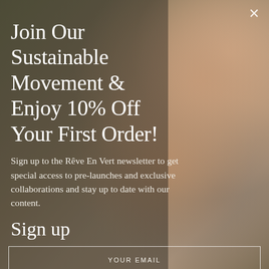[Figure (photo): Background photo of a woman with long blonde hair viewed from behind, sitting on a chair with a green and white checkered towel draped over it, against a textured light wall.]
Join Our Sustainable Movement & Enjoy 10% Off Your First Order!
Sign up to the Rêve En Vert newsletter to get special access to pre-launches and exclusive collaborations and stay up to date with our content.
Sign up
YOUR EMAIL
SUBMIT